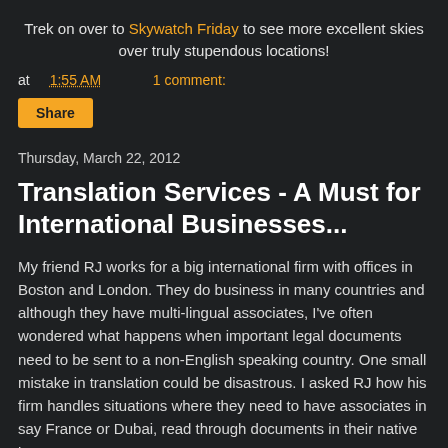Trek on over to Skywatch Friday to see more excellent skies over truly stupendous locations!
at 1:55 AM   1 comment:
Share
Thursday, March 22, 2012
Translation Services - A Must for International Businesses...
My friend RJ works for a big international firm with offices in Boston and London. They do business in many countries and although they have multi-lingual associates, I've often wondered what happens when important legal documents need to be sent to a non-English speaking country. One small mistake in translation could be disastrous. I asked RJ how his firm handles situations where they need to have associates in say France or Dubai, read through documents in their native language.